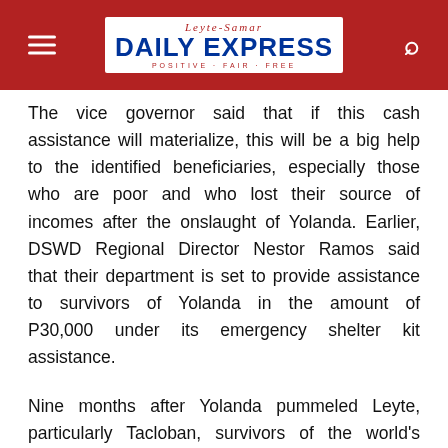Leyte-Samar DAILY EXPRESS POSITIVE · FAIR · FREE
The vice governor said that if this cash assistance will materialize, this will be a big help to the identified beneficiaries, especially those who are poor and who lost their source of incomes after the onslaught of Yolanda. Earlier, DSWD Regional Director Nestor Ramos said that their department is set to provide assistance to survivors of Yolanda in the amount of P30,000 under its emergency shelter kit assistance.
Nine months after Yolanda pummeled Leyte, particularly Tacloban, survivors of the world's strongest typhoon to make landfall have been waiting for financial assistance from the national government, Loreto and Yaokasin said in separate interview with Leyte Samar Daily Express. Survivors of Yolanda had received financial assistance from different humanitarian groups, the latest of which was the Unicef